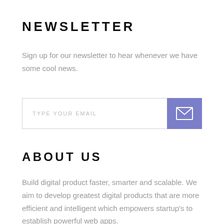NEWSLETTER
Sign up for our newsletter to hear whenever we have some cool news.
[Figure (other): Email signup input field with 'TYPE YOUR EMAIL' placeholder text and a purple submit button with envelope icon]
ABOUT US
Build digital product faster, smarter and scalable. We aim to develop greatest digital products that are more efficient and intelligent which empowers startup's to establish powerful web apps.